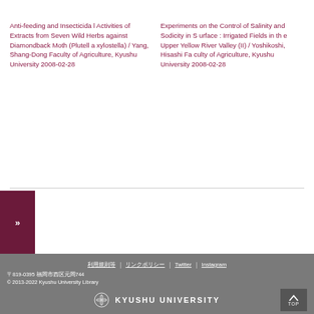Anti-feeding and Insecticidal Activities of Extracts from Seven Wild Herbs against Diamondback Moth (Plutella xylostella) / Yang, Shang-Dong Faculty of Agriculture, Kyushu University 2008-02-28
Experiments on the Control of Salinity and Sodicity in Surface : Irrigated Fields in the Upper Yellow River Valley (II) / Yoshikoshi, Hisashi Faculty of Agriculture, Kyushu University 2008-02-28
〒819-0395 福岡市西区元岡744 © 2013-2022 Kyushu University Library